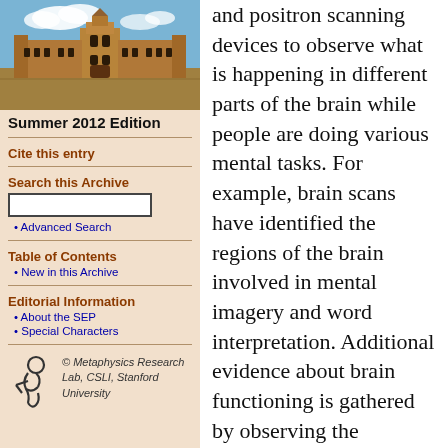[Figure (photo): Photograph of a historic university building with Gothic architecture, blue sky with clouds]
Summer 2012 Edition
Cite this entry
Search this Archive
Advanced Search
Table of Contents
New in this Archive
Editorial Information
About the SEP
Special Characters
[Figure (logo): Metaphysics Research Lab logo with stylized figure, and text: © Metaphysics Research Lab, CSLI, Stanford University]
and positron scanning devices to observe what is happening in different parts of the brain while people are doing various mental tasks. For example, brain scans have identified the regions of the brain involved in mental imagery and word interpretation. Additional evidence about brain functioning is gathered by observing the performance of people whose brains have been damaged in identifiable ways. A stroke, for example, in a part of the brain dedicated to language can produce deficits such as the inability to utter sentences. Like cognitive psychology, neuroscience is often theoretical as well as experimental, and